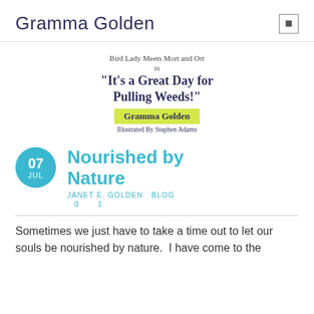Gramma Golden
[Figure (illustration): Book cover text: 'Bird Lady Meets Mort and Ort in "It's a Great Day for Pulling Weeds!"' by Gramma Golden, Illustrated by Stephen Adams, with a yellow-green highlight behind the author name.]
Nourished by Nature
JANET E. GOLDEN   BLOG
0   1
Sometimes we just have to take a time out to let our souls be nourished by nature.  I have come to the